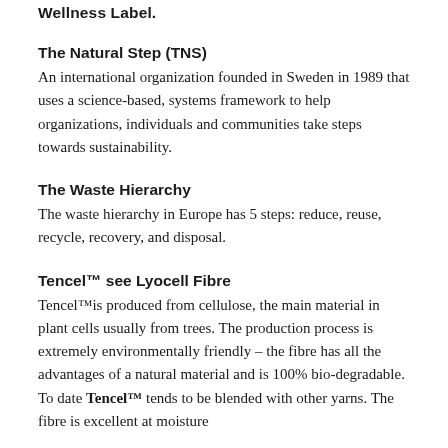Wellness Label.
The Natural Step (TNS)
An international organization founded in Sweden in 1989 that uses a science-based, systems framework to help organizations, individuals and communities take steps towards sustainability.
The Waste Hierarchy
The waste hierarchy in Europe has 5 steps: reduce, reuse, recycle, recovery, and disposal.
Tencel™ see Lyocell Fibre
Tencel™is produced from cellulose, the main material in plant cells usually from trees. The production process is extremely environmentally friendly – the fibre has all the advantages of a natural material and is 100% bio-degradable. To date Tencel™ tends to be blended with other yarns. The fibre is excellent at moisture